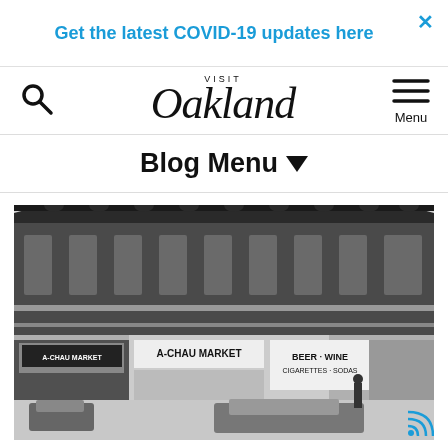Get the latest COVID-19 updates here
Visit Oakland — Blog Menu
Blog Menu ▾
[Figure (photo): Black and white photograph of the A-Chau Market, a two-story building with Asian-style pagoda roof on a street corner in Oakland's Chinatown. Signs read 'A-CHAU MARKET', 'BEER · WINE', 'CIGARETTES · SODAS'. Cars parked in front.]